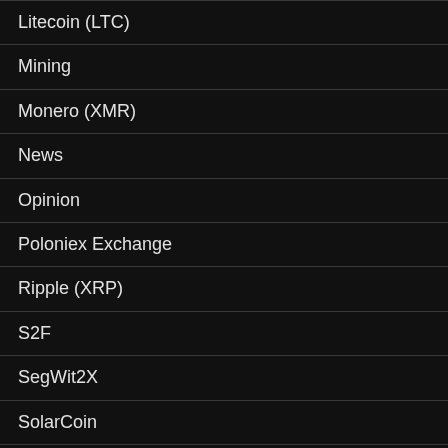Litecoin (LTC)
Mining
Monero (XMR)
News
Opinion
Poloniex Exchange
Ripple (XRP)
S2F
SegWit2X
SolarCoin
Stock to Flow (S2F)
Super Bitcoin (SBTC)